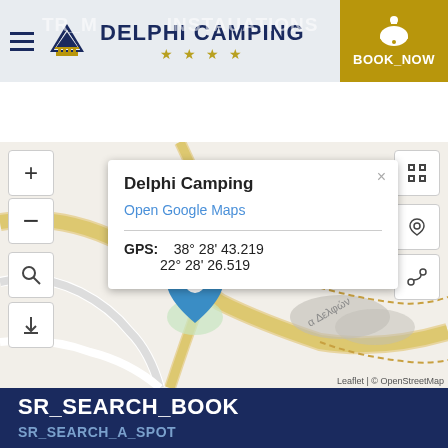[Figure (screenshot): Website header with hamburger menu, Delphi Camping logo with tent icon and 4 stars, and a gold 'BOOK_NOW' button with bell/dome icon on the right]
[Figure (map): OpenStreetMap/Leaflet map showing Delphi Camping location with a blue pin marker, map controls (zoom +/-, search, download on left; fullscreen, location, route on right), and a popup showing 'Delphi Camping', 'Open Google Maps' link, and GPS coordinates 38° 28' 43.219 / 22° 28' 26.519]
SR_SEARCH_BOOK
SR_SEARCH_A_SPOT